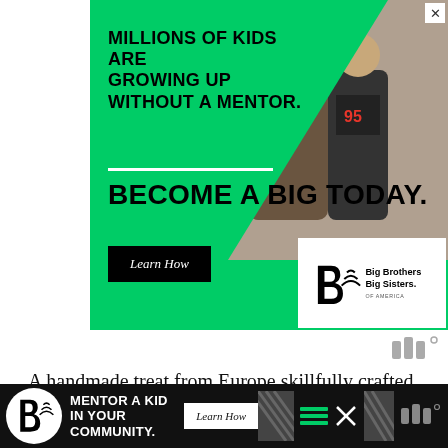[Figure (infographic): Big Brothers Big Sisters of America advertisement banner. Green background with headline 'MILLIONS OF KIDS ARE GROWING UP WITHOUT A MENTOR.' followed by 'BECOME A BIG TODAY.' with a 'Learn How' button and the BBBS logo. A photo of a man and child is shown in the upper right.]
[Figure (logo): Wordmark logo icon — three vertical bars with a small degree symbol]
A handmade treat from Europe skillfully crafted for record player lovers, the Pro-Ject Elemental is every bit as cool and trendy as it is amazingly well made. When you do not want to compromise on sound
[Figure (infographic): Bottom banner ad: Big Brothers Big Sisters of America. Text: MENTOR A KID IN YOUR COMMUNITY. Learn How button.]